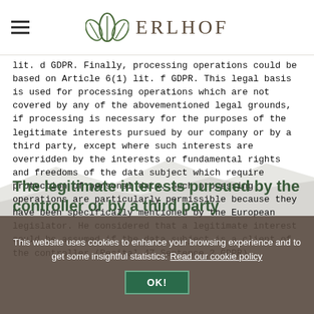ERLHOF
lit. d GDPR. Finally, processing operations could be based on Article 6(1) lit. f GDPR. This legal basis is used for processing operations which are not covered by any of the abovementioned legal grounds, if processing is necessary for the purposes of the legitimate interests pursued by our company or by a third party, except where such interests are overridden by the interests or fundamental rights and freedoms of the data subject which require protection of personal data. Such processing operations are particularly permissible because they have been specifically mentioned by the European legislator. He considered that a legitimate interest could be assumed if the data subject is a client of the controller (Recital 47 Sentence 2 GDPR).
The legitimate interests pursued by the controller or by a third party
This website uses cookies to enhance your browsing experience and to get some insightful statistics: Read our cookie policy
OK!